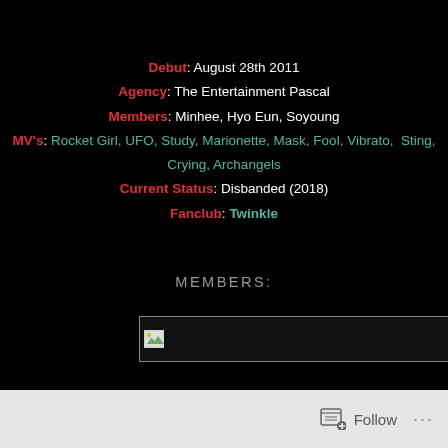Debut: August 28th 2011
Agency: The Entertainment Pascal
Members: Minhee, Hyo Eun, Soyoung
MV's: Rocket Girl, UFO, Study, Marionette, Mask, Fool, Vibrato, Sting, Crying, Archangels
Current Status: Disbanded (2018)
Fanclub: Twinkle
MEMBERS:
[Figure (photo): Broken image placeholder — a horizontal image box with a broken image icon on the left side]
Follow ...